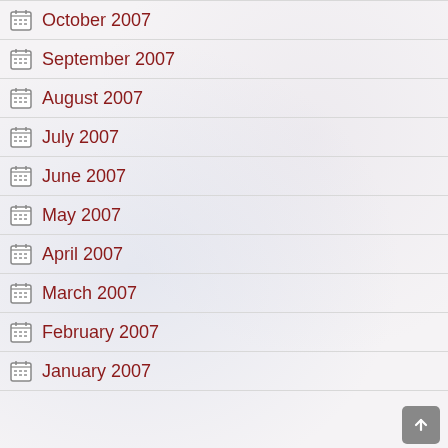October 2007
September 2007
August 2007
July 2007
June 2007
May 2007
April 2007
March 2007
February 2007
January 2007